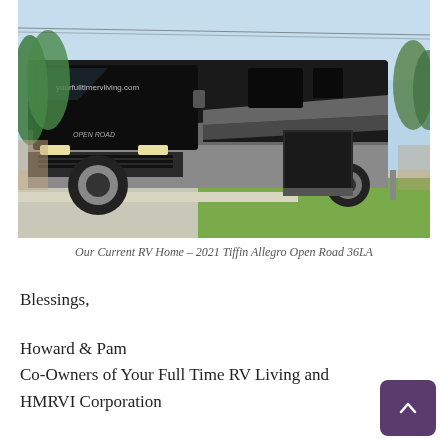[Figure (photo): A large black and silver Class A motorhome (2021 Tiffin Allegro Open Road 36LA) parked at a campsite with grass and pavement. The windshield displays the URL yourfulltimervliving.com. Blue sky and trees visible in background.]
Our Current RV Home – 2021 Tiffin Allegro Open Road 36LA
Blessings,
Howard & Pam
Co-Owners of Your Full Time RV Living and
HMRVI Corporation